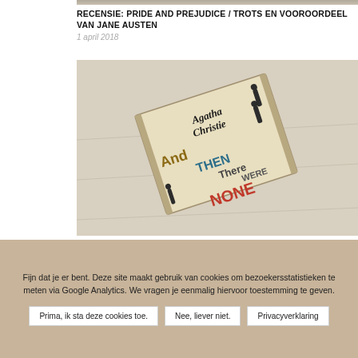[Figure (photo): Top strip of a partially visible image at the top of the page]
RECENSIE: PRIDE AND PREJUDICE / TROTS EN VOOROORDEEL VAN JANE AUSTEN
1 april 2018
[Figure (photo): Photo of an Agatha Christie book 'And Then There Were None' lying on a light wooden floor surface, showing the book cover with colorful typography]
REVIEW: AND THEN THERE WERE NONE BY AGATHA CHRISTIE
Fijn dat je er bent. Deze site maakt gebruik van cookies om bezoekersstatistieken te meten via Google Analytics. We vragen je eenmalig hiervoor toestemming te geven.
Prima, ik sta deze cookies toe. | Nee, liever niet. | Privacyverklaring